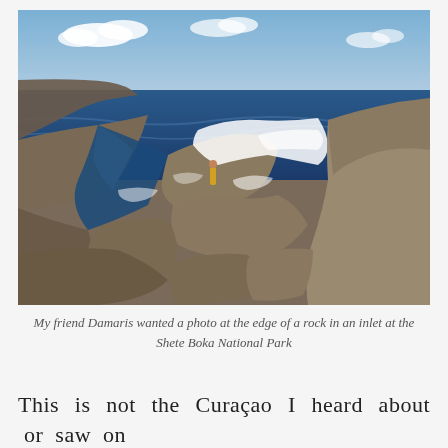[Figure (photo): A coastal landscape showing rocky shoreline with ocean waves crashing against the rocks. A person in a yellow outfit stands on the edge of a rock in an inlet. The sky has white clouds and the sea is deep blue.]
My friend Damaris wanted a photo at the edge of a rock in an inlet at the Shete Boka National Park
This is not the Curaçao I heard about or saw on